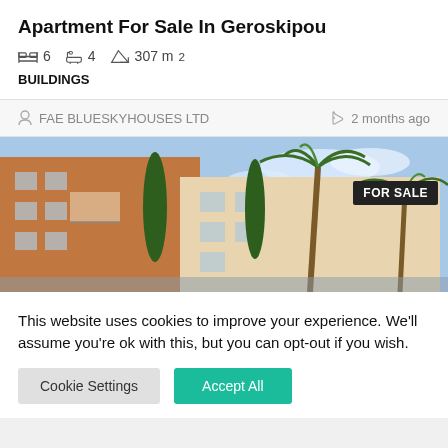Apartment For Sale In Geroskipou
6  4  307 m²
BUILDINGS
FAE BLUESKYHOUSES LTD
2 months ago
[Figure (photo): Exterior photo of apartment building with palm trees and blue sky, with FOR SALE badge overlay]
This website uses cookies to improve your experience. We'll assume you're ok with this, but you can opt-out if you wish.
Cookie Settings  Accept All